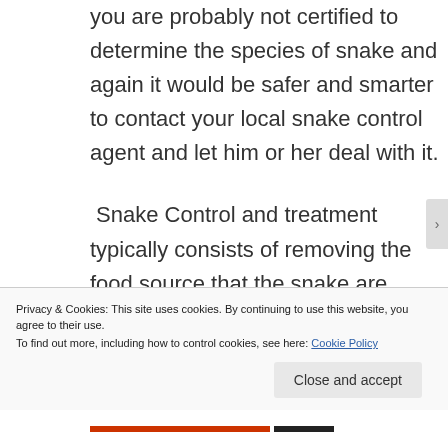you are probably not certified to determine the species of snake and again it would be safer and smarter to contact your local snake control agent and let him or her deal with it.
Snake Control and treatment typically consists of removing the food source that the snake are feeding on. typically this is rodent in
Privacy & Cookies: This site uses cookies. By continuing to use this website, you agree to their use.
To find out more, including how to control cookies, see here: Cookie Policy
Close and accept